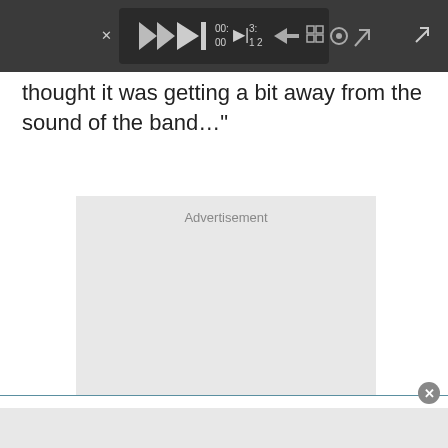[Figure (screenshot): Dark media player toolbar with playback controls, track time display (00:31, 3:12), grid icon, settings gear icon, and expand arrow icon. Expand icon also visible in top-right corner.]
thought it was getting a bit away from the sound of the band…”
[Figure (other): Advertisement placeholder box with light gray background and the word 'Advertisement' at the top center.]
[Figure (screenshot): Bottom popup area with a teal/blue top border and a circular close (x) button in the top-right corner, followed by a gray footer strip.]